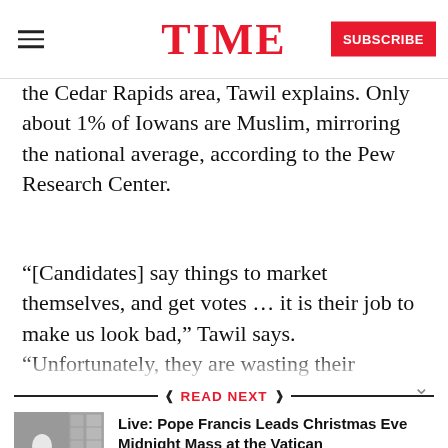TIME | SUBSCRIBE
the Cedar Rapids area, Tawil explains. Only about 1% of Iowans are Muslim, mirroring the national average, according to the Pew Research Center.
“[Candidates] say things to market themselves, and get votes … it is their job to make us look bad,” Tawil says. “Unfortunately, they are wasting their
READ NEXT
[Figure (photo): Thumbnail photo of Pope Francis at a window]
Live: Pope Francis Leads Christmas Eve Midnight Mass at the Vatican